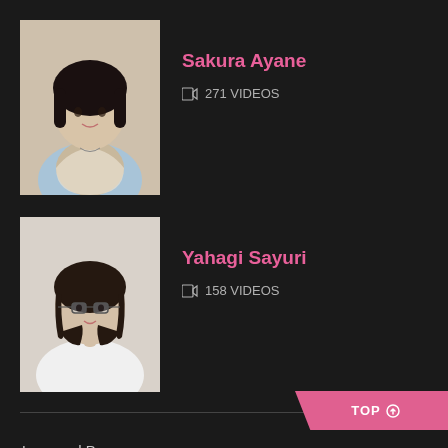[Figure (photo): Photo of Sakura Ayane, a young woman with short black bob haircut, wearing a light blue top and cardigan]
Sakura Ayane
📋 271 VIDEOS
[Figure (photo): Photo of Yahagi Sayuri, a young woman with medium-length dark hair and glasses, wearing a white top]
Yahagi Sayuri
📋 158 VIDEOS
Love and Peace everyone~
Have a great Valentine's Day.... in June XD.
Translated blogpost:https://radiocrossenglish.wordpress.co